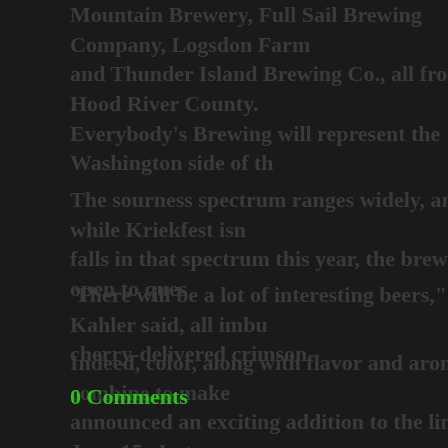Mountain Brewery, Full Sail Brewing Company, Logsdon Farm and Thunder Island Brewing Co., all from Hood River County. Everybody's Brewing will represent the Washington side of th
The sourness spectrum ranges widely, and while Kriekfest isn falls in that spectrum this year, the brewers are open to ques
There will be a lot of interesting beers," Kahler said, all imbu cherry-delivered crimson.
Indeed, color, along with flavor and aroma, combine to make announced an exciting addition to the lineup on June 15: Jest collaborated on a kriek with Michigan's Jolly Pumpkin Artisan
Then there is the featured Cantillon: here's a tip — get there' stuff, equating to about 170 four-ounce pours.
0 Comments